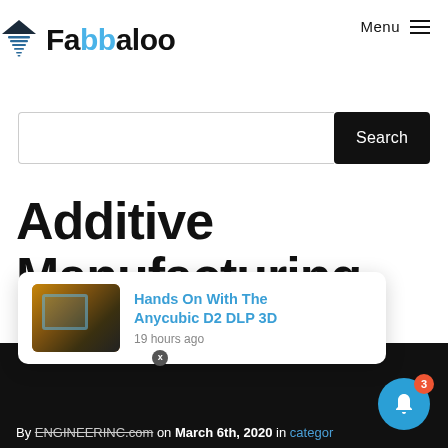Fabbaloo
[Figure (screenshot): Fabbaloo website header with logo (downward triangle with horizontal lines and 'Fabbaloo' wordmark in black and blue) and Menu button top right]
[Figure (screenshot): Search bar with text input field and black Search button]
Additive Manufacturing Materials: Proprietary
[Figure (screenshot): Notification popup showing thumbnail of 3D printer and link 'Hands On With The Anycubic D2 DLP 3D' posted 19 hours ago]
By ENGINEERINC.com on March 6th, 2020 in [category]